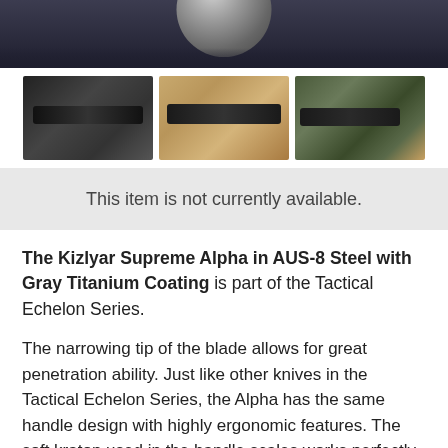[Figure (photo): Top banner image showing a dark/navy tactical background with a partial round grey object visible at the top center]
[Figure (photo): Three thumbnail images of a Kizlyar Supreme Alpha tactical knife shown against different backgrounds: dark tactical background, desert camouflage fabric, and military camouflage pattern]
This item is not currently available.
The Kizlyar Supreme Alpha in AUS-8 Steel with Gray Titanium Coating is part of the Tactical Echelon Series. The narrowing tip of the blade allows for great penetration ability. Just like other knives in the Tactical Echelon Series, the Alpha has the same handle design with highly ergonomic features. The soft kraton used in the handle scales works perfectly with tactical gloves and reduces slippage in wet conditions significantly. The tip of the handle ends in a glass-breaker that can be handy in